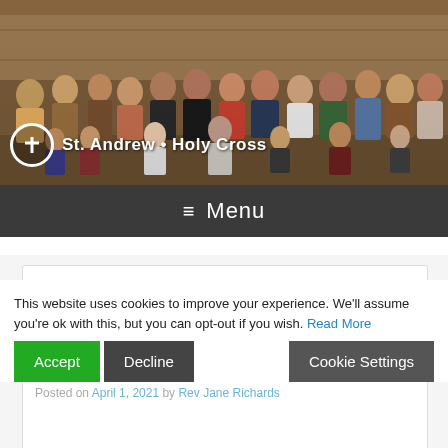[Figure (photo): Group photo of church congregation in front of wooden paneled wall. Many people of various ages standing and sitting together.]
St. Andrew • Holy Cross
≡ Menu
← Previous   Next →
Easter Sunday – Holy Communion
Posted on April 1, 2021 by Rev Jane Richards
This website uses cookies to improve your experience. We'll assume you're ok with this, but you can opt-out if you wish. Read More
Accept   Decline   Cookie Settings